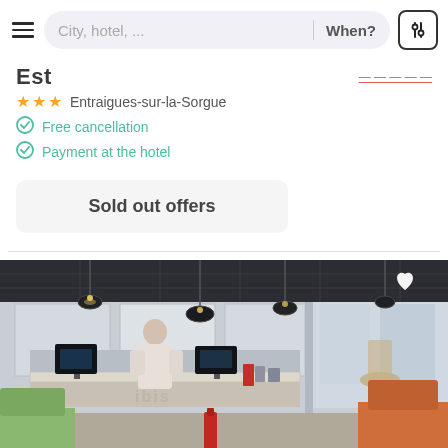City, hotel, ...   When?
Est
★★★ Entraigues-sur-la-Sorgue
Free cancellation
Payment at the hotel
Sold out offers
[Figure (photo): Hotel lobby/reception area with dark ceiling, pendant lights, white reception desk, computer monitors, person behind desk, colorful chairs in foreground (green and orange), red cup, and decorative elements on right side]